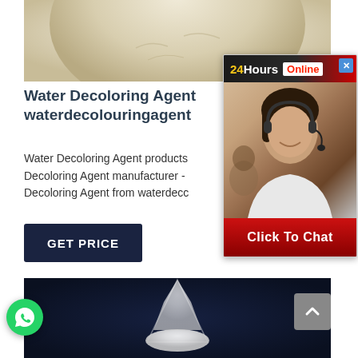[Figure (photo): Close-up photo of a beige/cream colored powder ball or mound against a light background]
Water Decoloring Agent waterdecolouringagent
Water Decoloring Agent products Decoloring Agent manufacturer - Decoloring Agent from waterdeco
GET PRICE
[Figure (infographic): 24Hours Online chat popup with customer service representative wearing headset, with Click To Chat button]
[Figure (photo): Photo of white powder on dark navy blue background]
[Figure (other): WhatsApp contact button (green circle with phone icon)]
[Figure (other): Scroll to top button (grey square with upward chevron)]